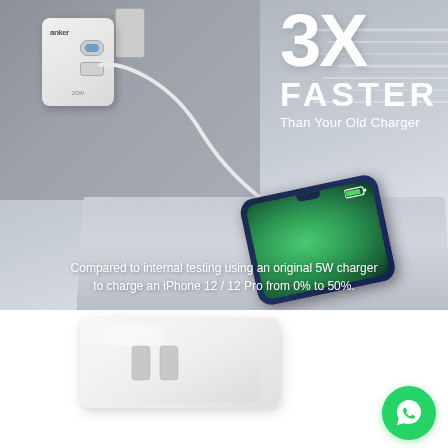[Figure (photo): Product marketing image showing an Anker USB-C wall charger plugged into an outlet, with a white cable connected to an iPhone 12 lying on a table. Overlay text reads '3X FASTER Than Your Old Charger'. Bottom disclaimer text explains testing methodology.]
Compared to internal testing using an original 5W charger to charge an iPhone 12 / 12 Pro from 0% to 50%.
[Figure (photo): White Anker USB-C charger product photo on white background showing the charger with folding prongs.]